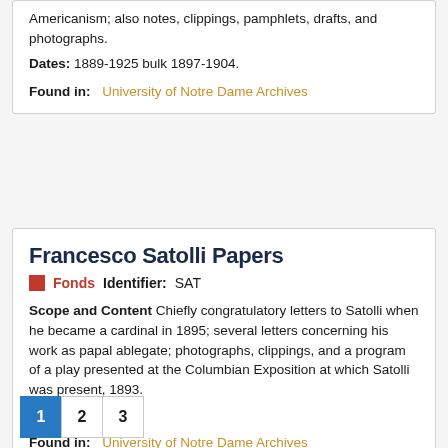Americanism; also notes, clippings, pamphlets, drafts, and photographs.
Dates: 1889-1925 bulk 1897-1904.
Found in: University of Notre Dame Archives
Francesco Satolli Papers
Fonds   Identifier: SAT
Scope and Content Chiefly congratulatory letters to Satolli when he became a cardinal in 1895; several letters concerning his work as papal ablegate; photographs, clippings, and a program of a play presented at the Columbian Exposition at which Satolli was present, 1893.
Dates: 1893-1895.
Found in: University of Notre Dame Archives
1  2  3